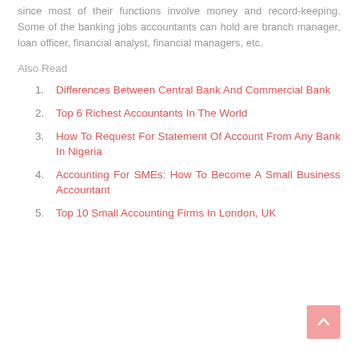since most of their functions involve money and record-keeping. Some of the banking jobs accountants can hold are branch manager, loan officer, financial analyst, financial managers, etc.
Also Read
Differences Between Central Bank And Commercial Bank
Top 6 Richest Accountants In The World
How To Request For Statement Of Account From Any Bank In Nigeria
Accounting For SMEs: How To Become A Small Business Accountant
Top 10 Small Accounting Firms In London, UK